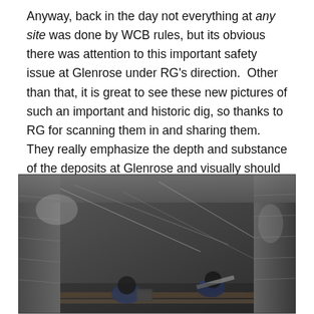Anyway, back in the day not everything at any site was done by WCB rules, but its obvious there was attention to this important safety issue at Glenrose under RG's direction.  Other than that, it is great to see these new pictures of such an important and historic dig, so thanks to RG for scanning them in and sharing them.  They really emphasize the depth and substance of the deposits at Glenrose and visually should cue us to what an exceptional site this is.
[Figure (photo): Black and white photograph taken from above, showing two workers in blue jackets/clothing inside a deep archaeological excavation pit. The walls of the pit are visible, showing layered sediment deposits. Wooden supports or shoring boards are visible, and ropes or wires cross the excavation. The depth of the pit is clearly depicted.]